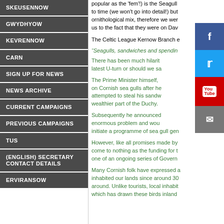SKEUSENNOW
GWYDHYOW
KEVRENNOW
CARN
SIGN UP FOR NEWS
NEWS ARCHIVE
CURRENT CAMPAIGNS
PREVIOUS CAMPAIGNS
TUS
(ENGLISH) SECRETARY CONTACT DETAILS
ERVIRANSOW
popular as the 'fem'!) is the Seagull... to time (we won't go into detail!) but ornithological mix, therefore we wer us to the fact that they were on Dav
The Celtic League Kernow Branch e
“Seagulls, sandwiches and spendin
There has been much hilarit latest U-turn or should we sa
The Prime Minister himself, on Cornish sea gulls after he attempted to steal his sandw wealthier part of the Duchy.
Subsequently he announced enormous problem and wou initiate a programme of sea gull gen
However, like all promises made by come to nothing as the funding for t one of an ongoing series of Govern
Many Cornish folk have expressed a inhabited our lands since around 30 around. Unlike tourists, local inhabit which has drawn these birds inland